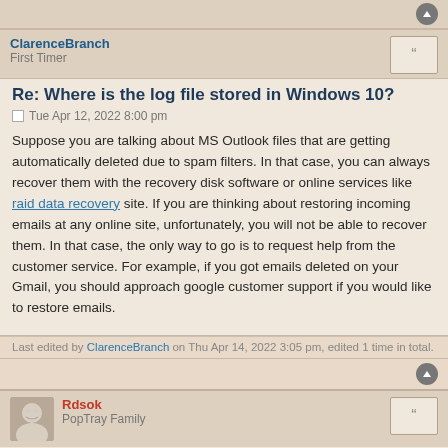ClarenceBranch
First Timer
Re: Where is the log file stored in Windows 10?
Tue Apr 12, 2022 8:00 pm
Suppose you are talking about MS Outlook files that are getting automatically deleted due to spam filters. In that case, you can always recover them with the recovery disk software or online services like raid data recovery site. If you are thinking about restoring incoming emails at any online site, unfortunately, you will not be able to recover them. In that case, the only way to go is to request help from the customer service. For example, if you got emails deleted on your Gmail, you should approach google customer support if you would like to restore emails.
Last edited by ClarenceBranch on Thu Apr 14, 2022 3:05 pm, edited 1 time in total.
Rdsok
PopTray Family
Re: Where is the log file stored in Windows 10?
Tue Apr 12, 2022 10:26 pm